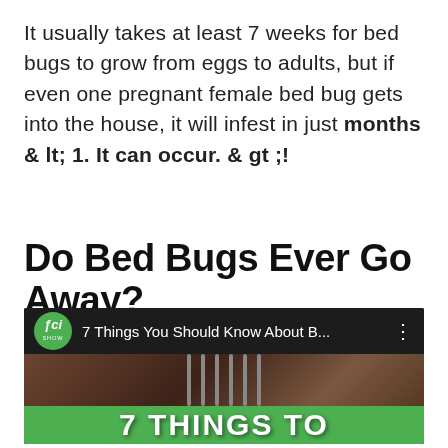It usually takes at least 7 weeks for bed bugs to grow from eggs to adults, but if even one pregnant female bed bug gets into the house, it will infest in just months & lt; 1. It can occur. & gt ;!
Do Bed Bugs Ever Go Away?
[Figure (screenshot): YouTube video thumbnail showing SciShow channel video titled '7 Things You Should Know About B...' with a thumbnail image of bed bugs and green banner text reading '7 THINGS TO']